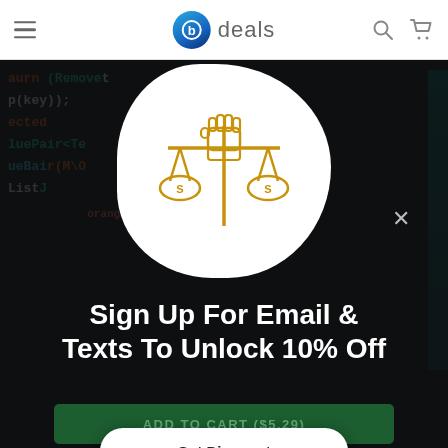deals
[Figure (screenshot): E-commerce website screenshot showing a deals website with a hamburger menu, logo (blue circle with 'b' and 'deals' text), search icon, and cart icon in the header. Behind a semi-transparent dark overlay is a code/programming background image. A modal popup is displayed with a cloud-shaped white area containing a justice/scales with fist icon in orange/gold, a close (X) button, and promotional text 'Sign Up For Email & Texts To Unlock 10% Off'. Below is a 'Get Discount' white pill button and a dark green 'ADD TO CART ($5.29)' button.]
Sign Up For Email & Texts To Unlock 10% Off
Get Discount
ADD TO CART ($5.29)